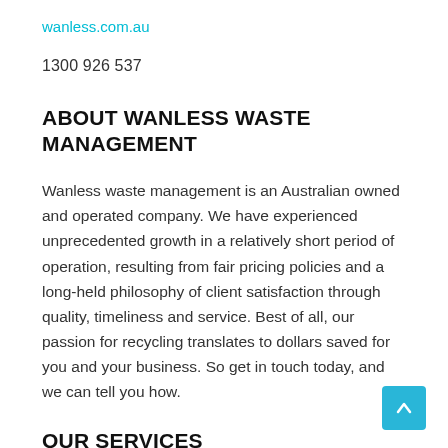wanless.com.au
1300 926 537
ABOUT WANLESS WASTE MANAGEMENT
Wanless waste management is an Australian owned and operated company. We have experienced unprecedented growth in a relatively short period of operation, resulting from fair pricing policies and a long-held philosophy of client satisfaction through quality, timeliness and service. Best of all, our passion for recycling translates to dollars saved for you and your business. So get in touch today, and we can tell you how.
OUR SERVICES